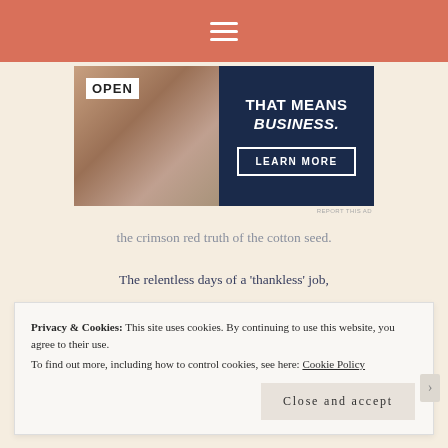Navigation menu (hamburger icon)
[Figure (other): Advertisement banner showing a person holding an OPEN sign on the left (photo), and on the right a dark navy panel with text 'THAT MEANS BUSINESS.' and a 'LEARN MORE' button]
the crimson red truth of the cotton seed.
The relentless days of a 'thankless' job,
Privacy & Cookies: This site uses cookies. By continuing to use this website, you agree to their use.
To find out more, including how to control cookies, see here: Cookie Policy

Close and accept